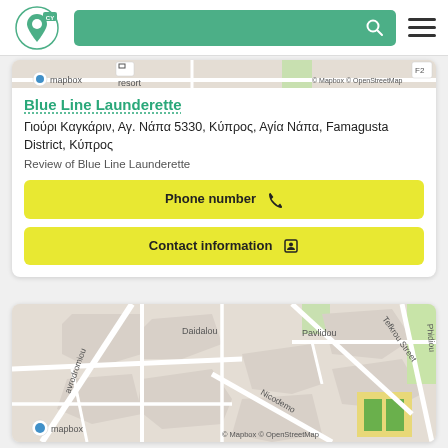[Figure (screenshot): Navigation bar with Cyprus location app logo, green search bar with magnifying glass icon, and hamburger menu]
[Figure (map): Partial map snippet showing mapbox map with OpenStreetMap attribution and 'resort' label]
Blue Line Launderette
Γιούρι Καγκάριν, Αγ. Νάπα 5330, Κύπρος, Αγία Νάπα, Famagusta District, Κύπρος
Review of Blue Line Launderette
Phone number
Contact information
[Figure (map): Mapbox map showing street layout with labels: avrodromiou, Daidalou, Pavlidou, Tefkrou Street, Phidiou, Nicodemo. Green areas and yellow blocks visible. Mapbox and OpenStreetMap attribution shown.]